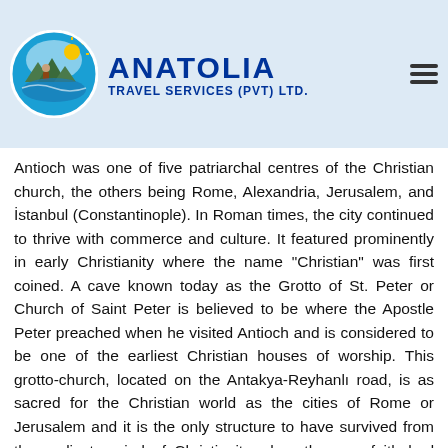ANATOLIA TRAVEL SERVICES (PVT) LTD.
Antakya, the biblical city of Antioch, lies on the banks of Asi River. The ancient city, bounded by grand mountains, was founded by the Seleucid kings. It was renowned for its wealth and luxury. In the 7th century, Antioch was one of five patriarchal centres of the Christian church, the others being Rome, Alexandria, Jerusalem, and İstanbul (Constantinople). In Roman times, the city continued to thrive with commerce and culture. It featured prominently in early Christianity where the name "Christian" was first coined. A cave known today as the Grotto of St. Peter or Church of Saint Peter is believed to be where the Apostle Peter preached when he visited Antioch and is considered to be one of the earliest Christian houses of worship. This grotto-church, located on the Antakya-Reyhanlı road, is as sacred for the Christian world as the cities of Rome or Jerusalem and it is the only structure to have survived from the earliest period of Christianity when the new faith had begun to spread. In 1963, the papacy...